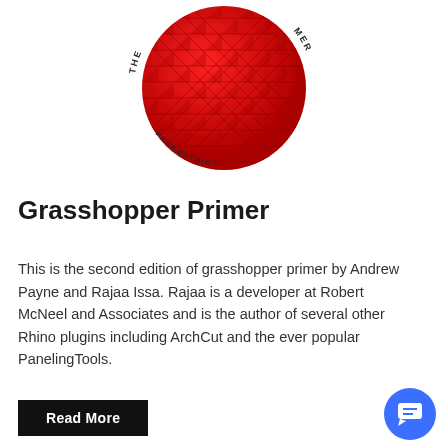[Figure (illustration): Book cover of The Grasshopper Primer showing a red sphere with a diamond/triangular grid pattern on it, with the text 'THE' on the left side and 'MER' on the right side curved around the top, and 'PARAMETRICS' curved along the bottom.]
Grasshopper Primer
This is the second edition of grasshopper primer by Andrew Payne and Rajaa Issa. Rajaa is a developer at Robert McNeel and Associates and is the author of several other Rhino plugins including ArchCut and the ever popular PanelingTools.
Read More